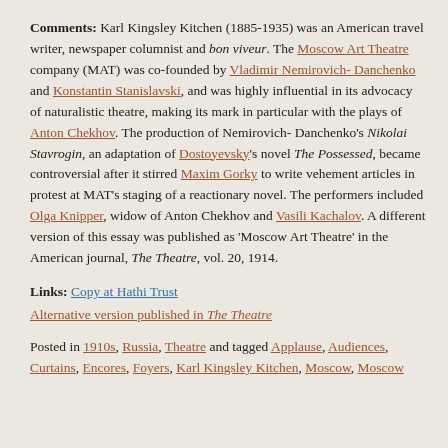Comments: Karl Kingsley Kitchen (1885-1935) was an American travel writer, newspaper columnist and bon viveur. The Moscow Art Theatre company (MAT) was co-founded by Vladimir Nemirovich-Danchenko and Konstantin Stanislavski, and was highly influential in its advocacy of naturalistic theatre, making its mark in particular with the plays of Anton Chekhov. The production of Nemirovich-Danchenko's Nikolai Stavrogin, an adaptation of Dostoyevsky's novel The Possessed, became controversial after it stirred Maxim Gorky to write vehement articles in protest at MAT's staging of a reactionary novel. The performers included Olga Knipper, widow of Anton Chekhov and Vasili Kachalov. A different version of this essay was published as 'Moscow Art Theatre' in the American journal, The Theatre, vol. 20, 1914.
Links: Copy at Hathi Trust
Alternative version published in The Theatre
Posted in 1910s, Russia, Theatre and tagged Applause, Audiences, Curtains, Encores, Foyers, Karl Kingsley Kitchen, Moscow, Moscow...